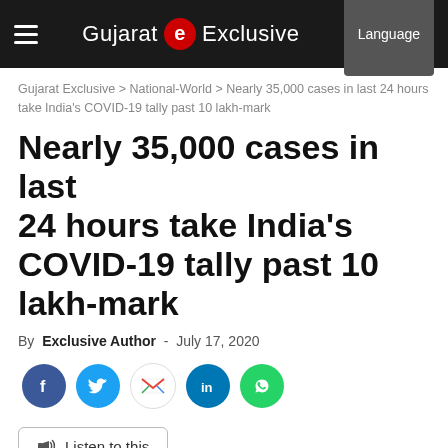Gujarat Exclusive | Language
Gujarat Exclusive > National-World > Nearly 35,000 cases in last 24 hours take India's COVID-19 tally past 10 lakh-mark
Nearly 35,000 cases in last 24 hours take India's COVID-19 tally past 10 lakh-mark
By Exclusive Author - July 17, 2020
[Figure (infographic): Social sharing icons: Facebook, Twitter, Gmail, LinkedIn, WhatsApp]
Listen to this
With a record single-day surge of 34,956 cases,